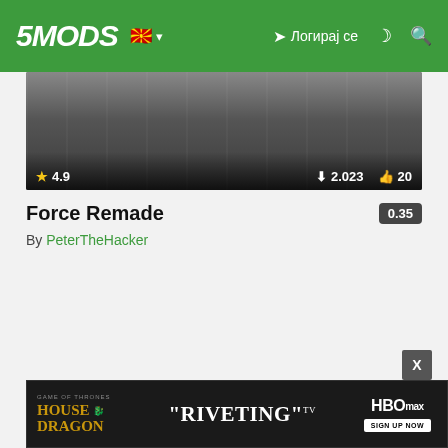5MODS — Логирај се
[Figure (screenshot): Thumbnail screenshot of a game scene with dark tones; overlaid stats show rating 4.9, downloads 2.023, likes 20]
Force Remade
By PeterTheHacker
[Figure (screenshot): HBO Max advertisement banner for House of the Dragon featuring the text RIVETING TV and a Sign Up Now button]